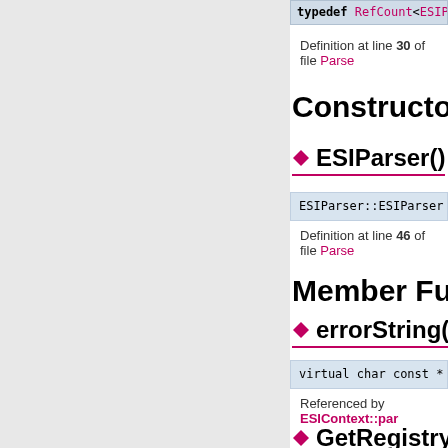typedef RefCount<ESIParser> P
Definition at line 30 of file Parse
Constructor & D
ESIParser()
ESIParser::ESIParser ( )  inli
Definition at line 46 of file Parse
Member Functio
errorString()
virtual char const * ESIParser::
Referenced by ESIContext::par
GetRegistry()